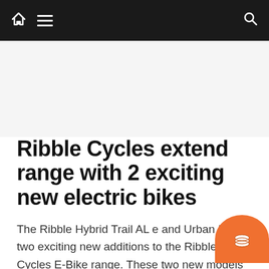Navigation bar with home icon, menu icon, and search icon
Ribble Cycles extend range with 2 exciting new electric bikes
The Ribble Hybrid Trail AL e and Urban E are two exciting new additions to the Ribble Cycles E-Bike range. These two new models both use the la…